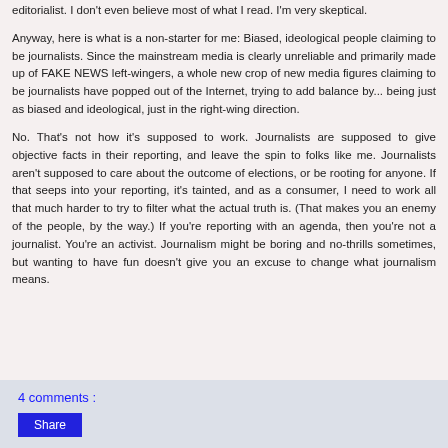editorialist. I don't even believe most of what I read. I'm very skeptical.
Anyway, here is what is a non-starter for me: Biased, ideological people claiming to be journalists. Since the mainstream media is clearly unreliable and primarily made up of FAKE NEWS left-wingers, a whole new crop of new media figures claiming to be journalists have popped out of the Internet, trying to add balance by... being just as biased and ideological, just in the right-wing direction.
No. That's not how it's supposed to work. Journalists are supposed to give objective facts in their reporting, and leave the spin to folks like me. Journalists aren't supposed to care about the outcome of elections, or be rooting for anyone. If that seeps into your reporting, it's tainted, and as a consumer, I need to work all that much harder to try to filter what the actual truth is. (That makes you an enemy of the people, by the way.) If you're reporting with an agenda, then you're not a journalist. You're an activist. Journalism might be boring and no-thrills sometimes, but wanting to have fun doesn't give you an excuse to change what journalism means.
4 comments :
Share